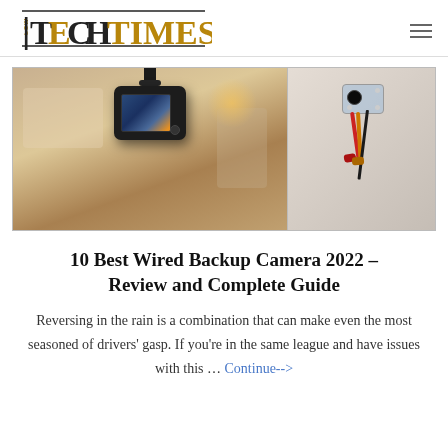LOW TECH TIMES
[Figure (photo): Two-panel hero image: left panel shows a dash cam mounted on a car windshield displaying road footage with warm bokeh background; right panel shows a wired backup camera with red and yellow RCA connectors and black cable on light grey background.]
10 Best Wired Backup Camera 2022 – Review and Complete Guide
Reversing in the rain is a combination that can make even the most seasoned of drivers' gasp. If you're in the same league and have issues with this … Continue-->